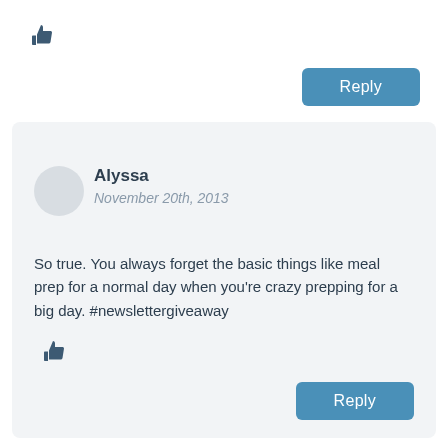[Figure (other): Thumbs up icon]
[Figure (other): Reply button (top)]
Alyssa
November 20th, 2013
So true. You always forget the basic things like meal prep for a normal day when you're crazy prepping for a big day. #newslettergiveaway
[Figure (other): Thumbs up icon]
[Figure (other): Reply button (bottom)]